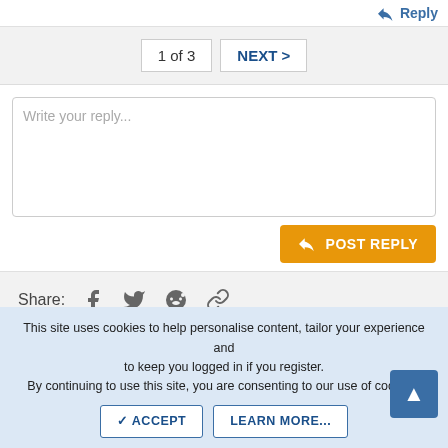Reply
1 of 3   NEXT >
Write your reply...
POST REPLY
Share:
This site uses cookies to help personalise content, tailor your experience and to keep you logged in if you register. By continuing to use this site, you are consenting to our use of cookies.
ACCEPT   LEARN MORE...